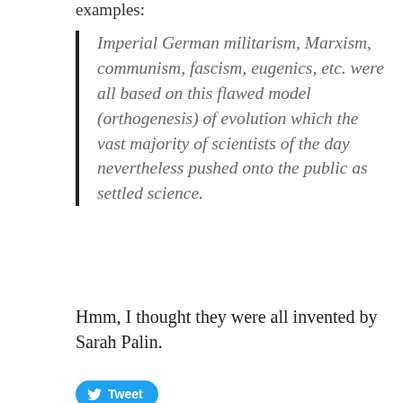examples:
Imperial German militarism, Marxism, communism, fascism, eugenics, etc. were all based on this flawed model (orthogenesis) of evolution which the vast majority of scientists of the day nevertheless pushed onto the public as settled science.
Hmm, I thought they were all invented by Sarah Palin.
[Figure (other): Tweet button with Twitter bird icon]
Author: Helian
I am Doug Drake, and I live in Maryland, not far